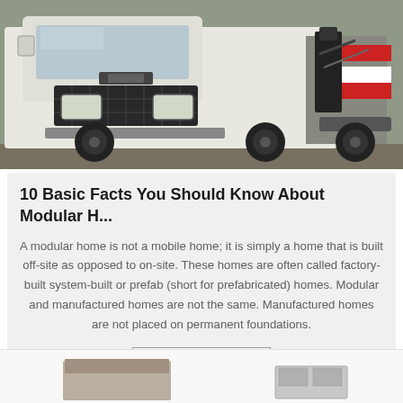[Figure (photo): Front view of a white commercial truck/lorry with Chinese license plate, parked outdoors. Red and black hook-lift mechanism visible on the right side of the truck.]
10 Basic Facts You Should Know About Modular H...
A modular home is not a mobile home; it is simply a home that is built off-site as opposed to on-site. These homes are often called factory-built system-built or prefab (short for prefabricated) homes. Modular and manufactured homes are not the same. Manufactured homes are not placed on permanent foundations.
Get Price
[Figure (photo): Partial view of modular/prefab home components at the bottom of the page, partially cut off.]